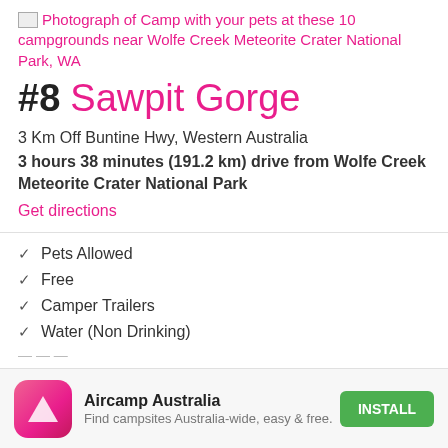[Figure (photo): Broken image icon for Photograph of Camp with your pets at these 10 campgrounds near Wolfe Creek Meteorite Crater National Park, WA]
#8 Sawpit Gorge
3 Km Off Buntine Hwy, Western Australia
3 hours 38 minutes (191.2 km) drive from Wolfe Creek Meteorite Crater National Park
Get directions
Pets Allowed
Free
Camper Trailers
Water (Non Drinking)
[Figure (logo): Aircamp Australia app icon — pink/red gradient rounded square with white triangle tent shape]
Aircamp Australia
Find campsites Australia-wide, easy & free.